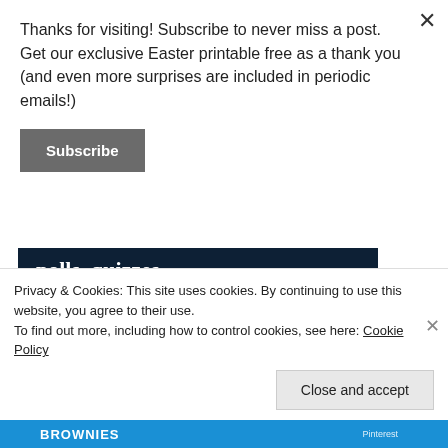Thanks for visiting! Subscribe to never miss a post. Get our exclusive Easter printable free as a thank you (and even more surprises are included in periodic emails!)
Subscribe
[Figure (screenshot): Dark navy advertisement banner with white bold text reading 'polls, quizzes, and forms.' with a pink 'Start now' button and a circular CROWD badge logo in the bottom right]
Privacy & Cookies: This site uses cookies. By continuing to use this website, you agree to their use.
To find out more, including how to control cookies, see here: Cookie Policy
Close and accept